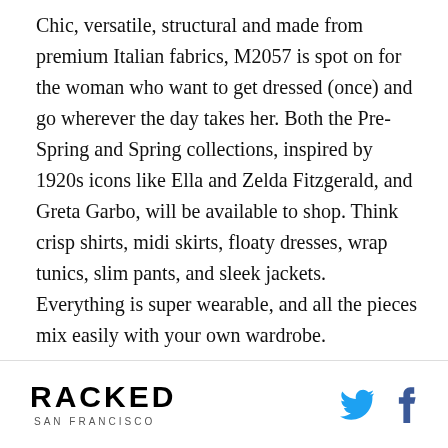Chic, versatile, structural and made from premium Italian fabrics, M2057 is spot on for the woman who want to get dressed (once) and go wherever the day takes her. Both the Pre-Spring and Spring collections, inspired by 1920s icons like Ella and Zelda Fitzgerald, and Greta Garbo, will be available to shop. Think crisp shirts, midi skirts, floaty dresses, wrap tunics, slim pants, and sleek jackets. Everything is super wearable, and all the pieces mix easily with your own wardrobe.

"M2057 has a very architectural energy—it's where the industrial meets the elegant," says Maria Pinto, who closed her namesake designer label six years ago.
RACKED SAN FRANCISCO